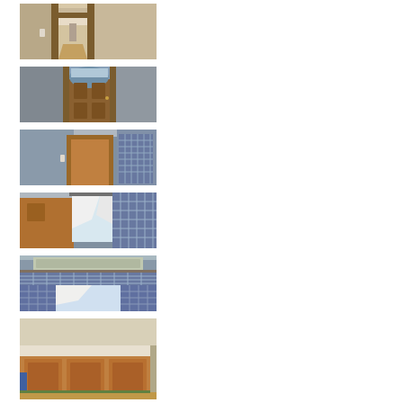[Figure (photo): Interior hallway view with wood-trimmed doorway and hardwood flooring, looking down a corridor]
[Figure (photo): Interior view of a door with arched window transom, gray walls and wood door frame]
[Figure (photo): Interior room corner with wood door and blue/gray gingham curtains on the right]
[Figure (photo): Interior room with wood door and blue/gray gingham curtain with white lining visible through window]
[Figure (photo): Interior room showing blue/gray gingham curtains and valance near window with framed art above]
[Figure (photo): Interior view of wooden cabinet/vanity with light-colored countertop on hardwood floor]